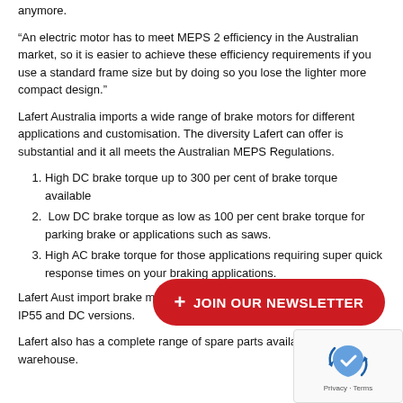anymore.
“An electric motor has to meet MEPS 2 efficiency in the Australian market, so it is easier to achieve these efficiency requirements if you use a standard frame size but by doing so you lose the lighter more compact design.”
Lafert Australia imports a wide range of brake motors for different applications and customisation. The diversity Lafert can offer is substantial and it all meets the Australian MEPS Regulations.
High DC brake torque up to 300 per cent of brake torque available
Low DC brake torque as low as 100 per cent brake torque for parking brake or applications such as saws.
High AC brake torque for those applications requiring super quick response times on your braking applications.
Lafert Aust import brake motors for different applications. Standard IP55 and DC versions.
[Figure (other): Red rounded rectangle button with white text and plus icon reading JOIN OUR NEWSLETTER]
Lafert also has a complete range of spare parts available from Hallam warehouse.